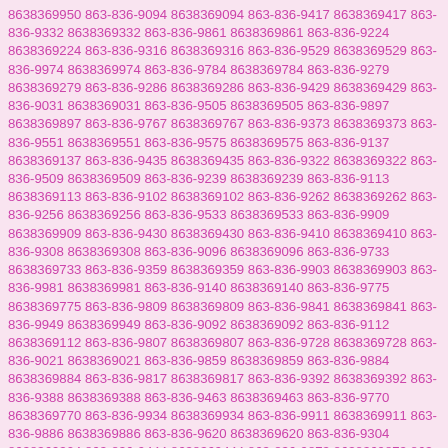8638369950 863-836-9094 8638369094 863-836-9417 8638369417 863-836-9332 8638369332 863-836-9861 8638369861 863-836-9224 8638369224 863-836-9316 8638369316 863-836-9529 8638369529 863-836-9974 8638369974 863-836-9784 8638369784 863-836-9279 8638369279 863-836-9286 8638369286 863-836-9429 8638369429 863-836-9031 8638369031 863-836-9505 8638369505 863-836-9897 8638369897 863-836-9767 8638369767 863-836-9373 8638369373 863-836-9551 8638369551 863-836-9575 8638369575 863-836-9137 8638369137 863-836-9435 8638369435 863-836-9322 8638369322 863-836-9509 8638369509 863-836-9239 8638369239 863-836-9113 8638369113 863-836-9102 8638369102 863-836-9262 8638369262 863-836-9256 8638369256 863-836-9533 8638369533 863-836-9909 8638369909 863-836-9430 8638369430 863-836-9410 8638369410 863-836-9308 8638369308 863-836-9096 8638369096 863-836-9733 8638369733 863-836-9359 8638369359 863-836-9903 8638369903 863-836-9981 8638369981 863-836-9140 8638369140 863-836-9775 8638369775 863-836-9809 8638369809 863-836-9841 8638369841 863-836-9949 8638369949 863-836-9092 8638369092 863-836-9112 8638369112 863-836-9807 8638369807 863-836-9728 8638369728 863-836-9021 8638369021 863-836-9859 8638369859 863-836-9884 8638369884 863-836-9817 8638369817 863-836-9392 8638369392 863-836-9388 8638369388 863-836-9463 8638369463 863-836-9770 8638369770 863-836-9934 8638369934 863-836-9911 8638369911 863-836-9886 8638369886 863-836-9620 8638369620 863-836-9304 8638369304 863-836-9444 8638369444 863-836-9873 8638369873 863-836-9236 8638369236 863-836-9214 8638369214 863-836-9161